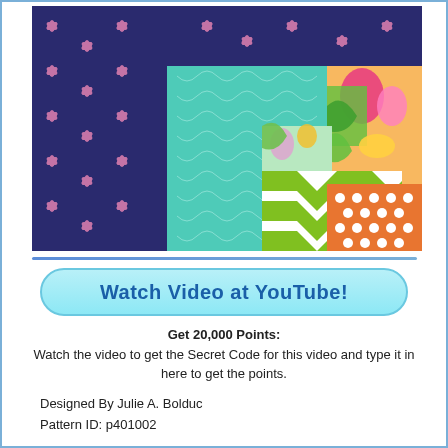[Figure (photo): Layered quilt fabric squares showing navy with pink flowers, teal with white lattice, and colorful tropical florals with green chevron and orange polka dot patterns]
Watch Video at YouTube!
Get 20,000 Points:
Watch the video to get the Secret Code for this video and type it in here to get the points.
Designed By Julie A. Bolduc
Pattern ID: p401002